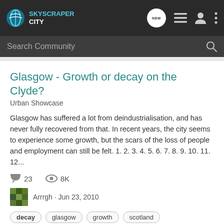SkyscraperCity
Glasgow - Growth or decay on the Clyde?
Urban Showcase
Glasgow has suffered a lot from deindustrialisation, and has never fully recovered from that. In recent years, the city seems to experience some growth, but the scars of the loss of people and employment can still be felt. 1. 2. 3. 4. 5. 6. 7. 8. 9. 10. 11. 12...
23 comments  8K views
Arrrgh · Jun 23, 2010
decay  glasgow  growth  scotland
East Midlands | Urban decay and dereliction |